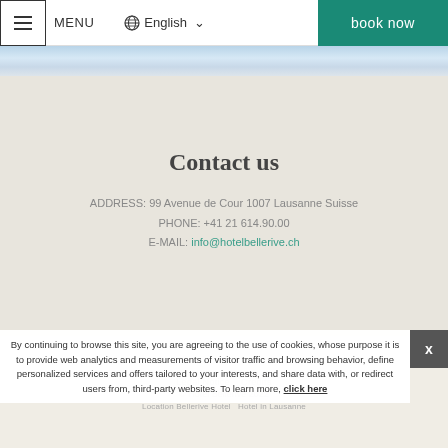≡ MENU  🌐 English ∨  book now
[Figure (photo): Sky background strip with blue-grey clouds]
Contact us
ADDRESS: 99 Avenue de Cour 1007 Lausanne Suisse
PHONE: +41 21 614.90.00
E-MAIL: info@hotelbellerive.ch
Legal Notice   Credits
© Hôtel Bellerive 2022
Location Bellerive Hotel Hotel in Lausanne
By continuing to browse this site, you are agreeing to the use of cookies, whose purpose it is to provide web analytics and measurements of visitor traffic and browsing behavior, define personalized services and offers tailored to your interests, and share data with, or redirect users from, third-party websites. To learn more, click here